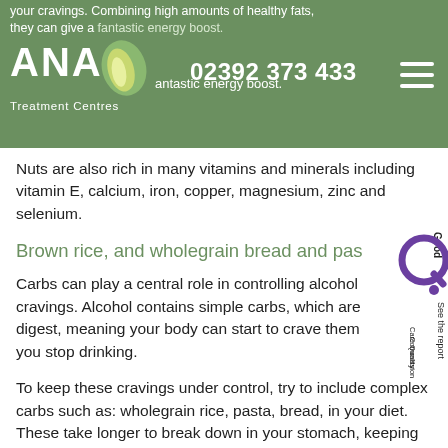your cravings. Combining high amounts of healthy fats, they can give a fantastic energy boost. | ANA Treatment Centres | 02392 373 433
Nuts are also rich in many vitamins and minerals including vitamin E, calcium, iron, copper, magnesium, zinc and selenium.
Brown rice, and wholegrain bread and pas
Carbs can play a central role in controlling alcohol cravings. Alcohol contains simple carbs, which are digest, meaning your body can start to crave them you stop drinking.
To keep these cravings under control, try to include complex carbs such as: wholegrain rice, pasta, bread, in your diet. These take longer to break down in your stomach, keeping you stay fuller for longer, while providing extra energy and reducing cravings. This habit change may